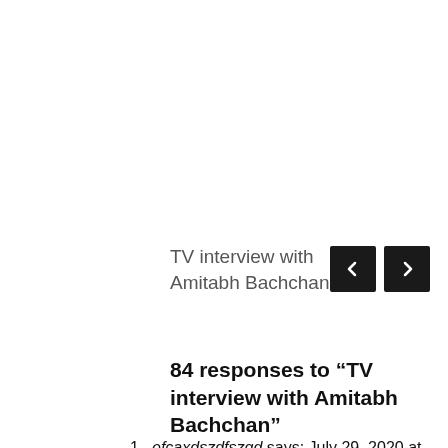TV interview with Amitabh Bachchan
84 responses to “TV interview with Amitabh Bachchan”
efcaxdszdfszgd says:
July 29, 2020 at 4:50 pm

Title

[…]that could be the end of this write-up. Here you will find some web-sites that we feel you’ll appreciate, just click the links